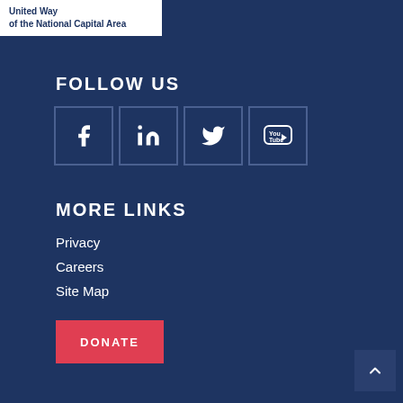[Figure (logo): United Way of the National Capital Area logo — white background with dark blue text]
FOLLOW US
[Figure (infographic): Four social media icons in bordered boxes: Facebook, LinkedIn, Twitter, YouTube]
MORE LINKS
Privacy
Careers
Site Map
[Figure (other): Red DONATE button]
[Figure (other): Back to top arrow button]